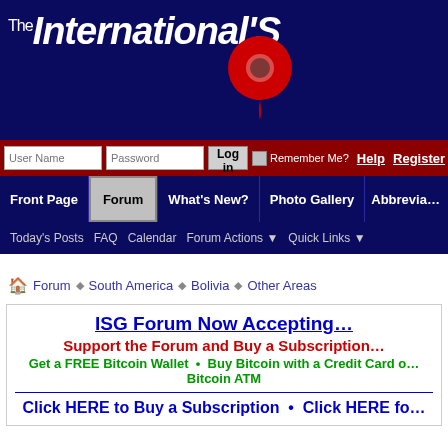The International's [Site name - partially obscured]
[Figure (screenshot): Login bar with User Name, Password fields, Log in button, Remember Me checkbox, Help and Register links]
[Figure (screenshot): Navigation bar with Front Page, Forum (active), What's New?, Photo Gallery, Abbrevia... tabs]
[Figure (screenshot): Sub-navigation bar with Today's Posts, FAQ, Calendar, Forum Actions, Quick Links]
Forum > South America > Bolivia > Other Areas
ISG Forum Now Accepting...
Support the Forum and Buy a Subscription...
Get a FREE Bitcoin Wallet • Buy Bitcoin with a Credit Card o... Bitcoin ATM
Click HERE to Buy a Subscription • Click HERE fo...
If this is your first visit, be sure to check out the FAQ by clicking the link a... register before you can post: click the register link above to proceed. To... the forum that you want to visit from the selection below.
[Figure (logo): Partial logo/icon visible at bottom of page]